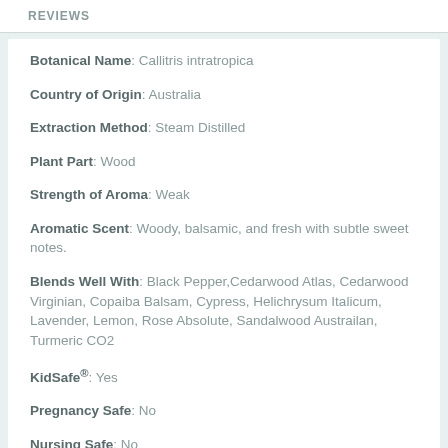REVIEWS
Botanical Name: Callitris intratropica
Country of Origin: Australia
Extraction Method: Steam Distilled
Plant Part: Wood
Strength of Aroma: Weak
Aromatic Scent: Woody, balsamic, and fresh with subtle sweet notes.
Blends Well With: Black Pepper,Cedarwood Atlas, Cedarwood Virginian, Copaiba Balsam, Cypress, Helichrysum Italicum, Lavender, Lemon, Rose Absolute, Sandalwood Austrailan, Turmeric CO2
KidSafe®: Yes
Pregnancy Safe: No
Nursing Safe: No